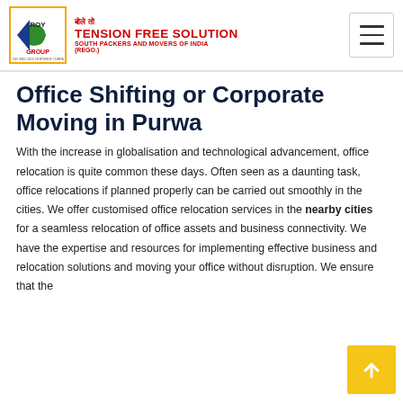[Figure (logo): Roy Group logo with coloured arrow/leaf emblem, bordered in gold, with text: बोले तो TENSION FREE SOLUTION SOUTH PACKERS AND MOVERS OF INDIA (REGO.)]
Office Shifting or Corporate Moving in Purwa
With the increase in globalisation and technological advancement, office relocation is quite common these days. Often seen as a daunting task, office relocations if planned properly can be carried out smoothly in the cities. We offer customised office relocation services in the nearby cities for a seamless relocation of office assets and business connectivity. We have the expertise and resources for implementing effective business and relocation solutions and moving your office without disruption. We ensure that the relocation mission and the business operations are not disrupted.